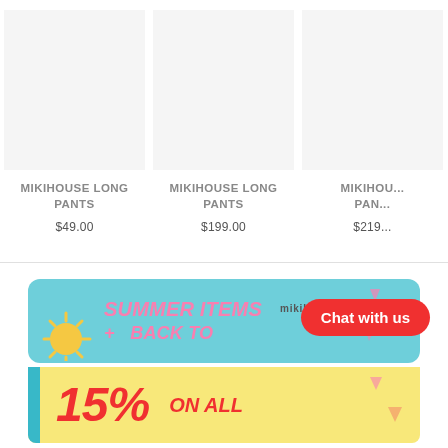MIKIHOUSE LONG PANTS
$49.00
MIKIHOUSE LONG PANTS
$199.00
MIKIHOUSE LONG PANTS
$219...
[Figure (infographic): Summer Items Back To School banner on teal background with Mikihouse logo, sun illustration, and pink triangles]
[Figure (infographic): 15% On All banner on yellow background with teal accent strip]
Chat with us